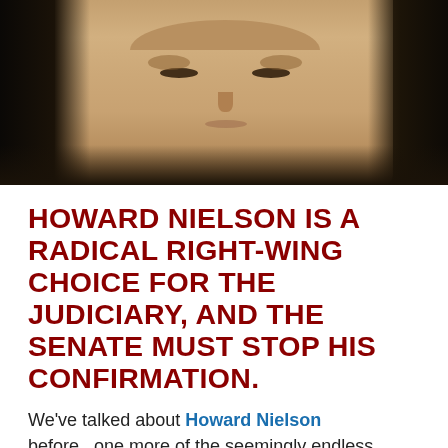[Figure (photo): Close-up photo of a man's face against a dark background, appearing to be at a judicial hearing or formal proceeding.]
HOWARD NIELSON IS A RADICAL RIGHT-WING CHOICE FOR THE JUDICIARY, AND THE SENATE MUST STOP HIS CONFIRMATION.
We've talked about Howard Nielson before...one more of the seemingly endless supply of reactionary hard-right candidates the Trump administration has loaded up, ready to take over lifetime appointments in our court system.